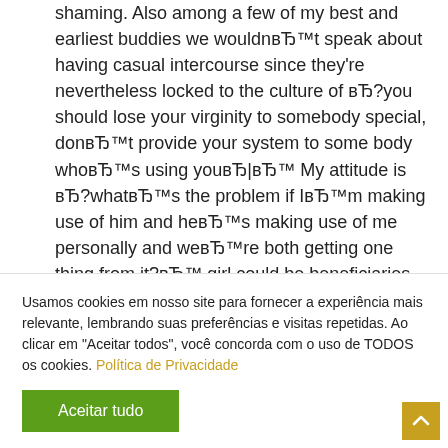shaming. Also among a few of my best and earliest buddies we wouldnвЂ™t speak about having casual intercourse since they're nevertheless locked to the culture of вЂ?you should lose your virginity to somebody special, donвЂ™t provide your system to some body whoвЂ™s using youвЂ|вЂ™ My attitude is вЂ?whatвЂ™s the problem if IвЂ™m making use of him and heвЂ™s making use of me personally and weвЂ™re both getting one thing from it?вЂ™ girl could be beneficiaries of casual
Usamos cookies em nosso site para fornecer a experiência mais relevante, lembrando suas preferências e visitas repetidas. Ao clicar em "Aceitar todos", você concorda com o uso de TODOS os cookies. Política de Privacidade